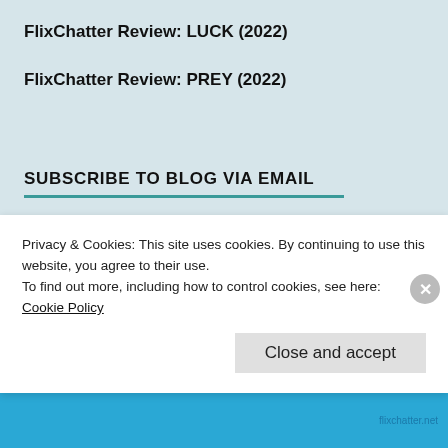FlixChatter Review: LUCK (2022)
FlixChatter Review: PREY (2022)
SUBSCRIBE TO BLOG VIA EMAIL
Enter your email address to subscribe to this blog
Privacy & Cookies: This site uses cookies. By continuing to use this website, you agree to their use.
To find out more, including how to control cookies, see here: Cookie Policy
Close and accept